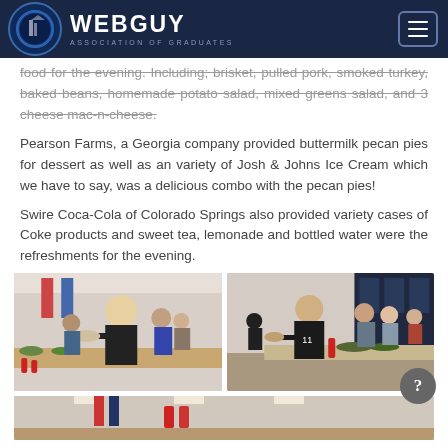WEBGUY ASSOCIATION OF GRADUATES
food for the evening. Including; brisket, pulled pork, smoked turkey, baked beans, homemade potato salad, mixed greens salad, and 3 cheese mac-n-cheese.
Pearson Farms, a Georgia company provided buttermilk pecan pies for dessert as well as an variety of Josh & Johns Ice Cream which we have to say, was a delicious combo with the pecan pies!
Swire Coca-Cola of Colorado Springs also provided variety cases of Coke products and sweet tea, lemonade and bottled water were the refreshments for the evening.
[Figure (photo): Two event photos side by side showing people at a buffet/food event in an indoor venue]
[Figure (photo): Partial photo at bottom showing indoor event venue]